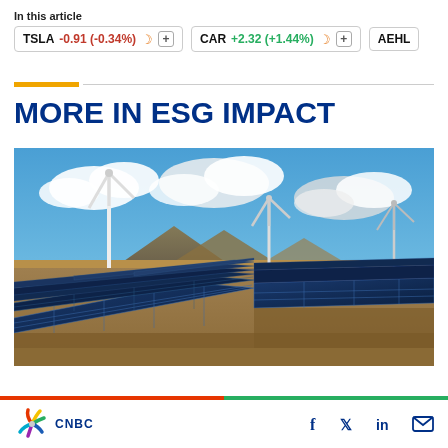In this article
TSLA -0.91 (-0.34%)  CAR +2.32 (+1.44%)  AEHL
MORE IN ESG IMPACT
[Figure (photo): Wind turbines and solar panels in a desert landscape with blue sky and clouds]
CNBC logo with social media icons: Facebook, Twitter, LinkedIn, Email